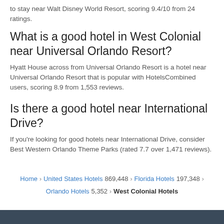to stay near Walt Disney World Resort, scoring 9.4/10 from 24 ratings.
What is a good hotel in West Colonial near Universal Orlando Resort?
Hyatt House across from Universal Orlando Resort is a hotel near Universal Orlando Resort that is popular with HotelsCombined users, scoring 8.9 from 1,553 reviews.
Is there a good hotel near International Drive?
If you're looking for good hotels near International Drive, consider Best Western Orlando Theme Parks (rated 7.7 over 1,471 reviews).
Home > United States Hotels 869,448 > Florida Hotels 197,348 > Orlando Hotels 5,352 > West Colonial Hotels